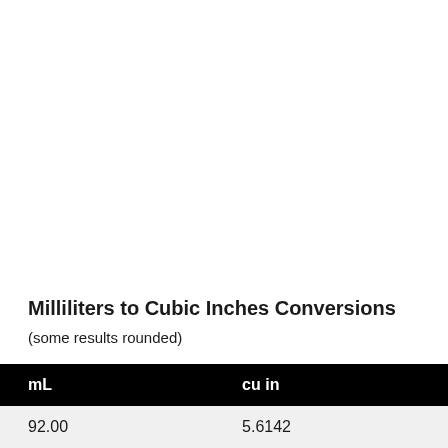Milliliters to Cubic Inches Conversions
(some results rounded)
| mL | cu in |
| --- | --- |
| 92.00 | 5.6142 |